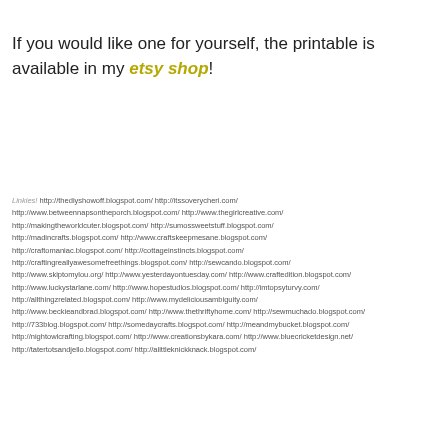If you would like one for yourself, the printable is available in my etsy shop!
Linkies! http://thediyshowoff.blogspot.com/ http://itssoverycheri.com/ http://www.betweennapsontheporch.blogspot.com/ http://www.thegirlcreative.com/ http://makingtheworldcuter.blogspot.com/ http://sumossweetstuff.blogspot.com/ http://madincrafts.blogspot.com/ http://www.craftskeepmesane.blogspot.com/ http://craftomaniac.blogspot.com/ http://cottageinstincts.blogspot.com/ http://craftingreallyawesomefreethings.blogspot.com/ http://sewcando.blogspot.com/ http://www.skiptomylou.org/ http://www.yesterdayontuesday.com/ http://www.craftedition.blogspot.com/ http://www.luckystarlane.com/ http://www.hopestudios.blogspot.com/ http://imtopsyturvy.com/ http://allthingzrelated.blogspot.com/ http://www.mydeliciousambiguity.com/ http://www.beckieandbrad.blogspot.com/ http://www.thethriftyhome.com/ http://sewmuchado.blogspot.com/ http://733blog.blogspot.com/ http://somedaycrafts.blogspot.com/ http://meandmybucket.blogspot.com/ http://nightowlcrafting.blogspot.com/ http://www.creationsbykara.com/ http://www.bluecricketdesign.net/ http://tatertotsandjello.blogspot.com/ http://alittleknickknack.blogspot.com/